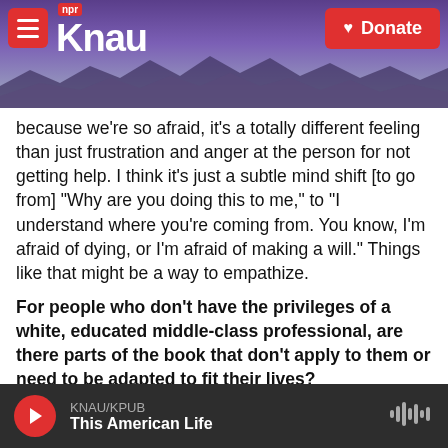KNAU NPR — Donate
because we're so afraid, it's a totally different feeling than just frustration and anger at the person for not getting help. I think it's just a subtle mind shift [to go from] "Why are you doing this to me," to "I understand where you're coming from. You know, I'm afraid of dying, or I'm afraid of making a will." Things like that might be a way to empathize.
For people who don't have the privileges of a white, educated middle-class professional, are there parts of the book that don't apply to them or need to be adapted to fit their lives?
I tried especially hard in this book in particular, to be
KNAU/KPUB — This American Life